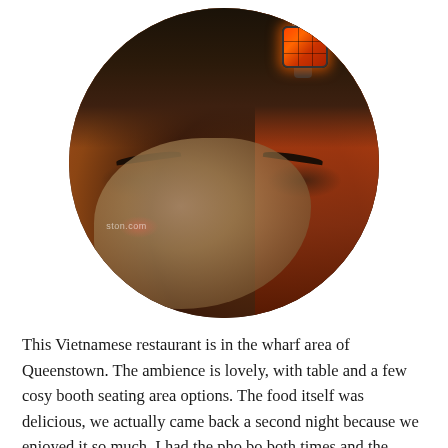[Figure (photo): A circular-cropped photograph of a large painted mural showing a close-up of a figure's eyes and forehead, wearing a dark hat or hood. A red/orange decorative lantern is visible in the upper right. The background has warm reddish-orange tones. A faint watermark reads 'ston.com' in the lower left of the circle.]
This Vietnamese restaurant is in the wharf area of Queenstown. The ambience is lovely, with table and a few cosy booth seating area options. The food itself was delicious, we actually came back a second night because we enjoyed it so much. I had the pho bo both times and the Mister and I shared the summer spring rolls. The Mister tried pho bo the first night, and the second he had